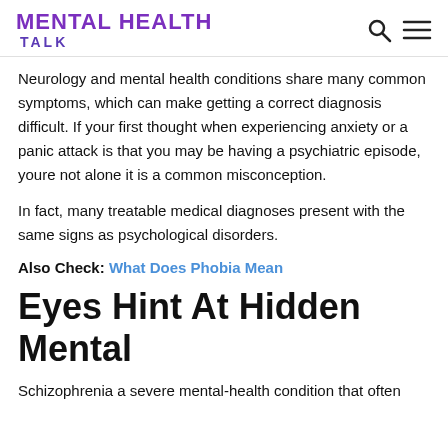MENTAL HEALTH TALK
Neurology and mental health conditions share many common symptoms, which can make getting a correct diagnosis difficult. If your first thought when experiencing anxiety or a panic attack is that you may be having a psychiatric episode, youre not alone it is a common misconception.
In fact, many treatable medical diagnoses present with the same signs as psychological disorders.
Also Check: What Does Phobia Mean
Eyes Hint At Hidden Mental
Schizophrenia a severe mental-health condition that often